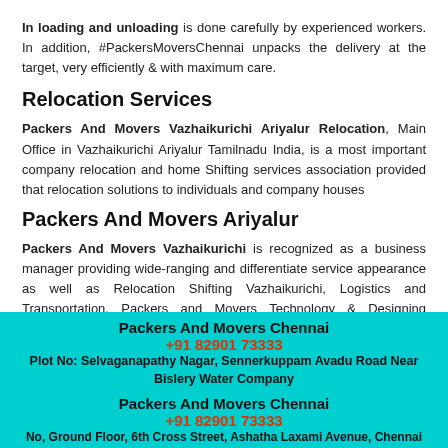In loading and unloading is done carefully by experienced workers. In addition, #PackersMoversChennai unpacks the delivery at the target, very efficiently & with maximum care.
Relocation Services
Packers And Movers Vazhaikurichi Ariyalur Relocation, Main Office in Vazhaikurichi Ariyalur Tamilnadu India, is a most important company relocation and home Shifting services association provided that relocation solutions to individuals and company houses
Packers And Movers Ariyalur
Packers And Movers Vazhaikurichi is recognized as a business manager providing wide-ranging and differentiate service appearance as well as Relocation Shifting Vazhaikurichi, Logistics and Transportation, Packers and Movers Technology & Designing services.
Office and H...
Packers And Movers Chennai
+91 82901 73333
Plot No: Selvaganapathy Nagar, Sennerkuppam Avadu Road Near Bislery Water Company
Packers And Movers Chennai
+91 82901 73333
No, Ground Floor, 6th Cross Street, Ashatha Laxami Avenue, Chennai 600056